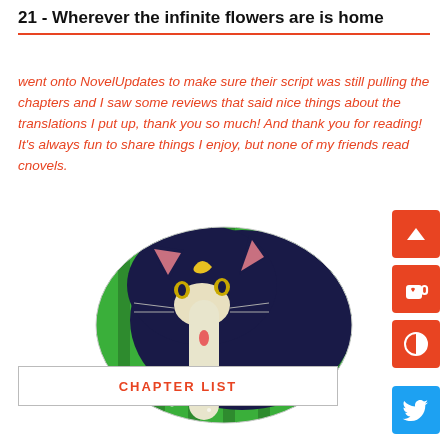21 - Wherever the infinite flowers are is home
went onto NovelUpdates to make sure their script was still pulling the chapters and I saw some reviews that said nice things about the translations I put up, thank you so much! And thank you for reading! It's always fun to share things I enjoy, but none of my friends read cnovels.
[Figure (illustration): An oval-framed illustration of a dark navy/black cartoon cat with a crescent moon mark on its forehead, pink inner ears, and yellow eyes, leaning over and licking a pale figure below it, set against a green striped background.]
CHAPTER LIST